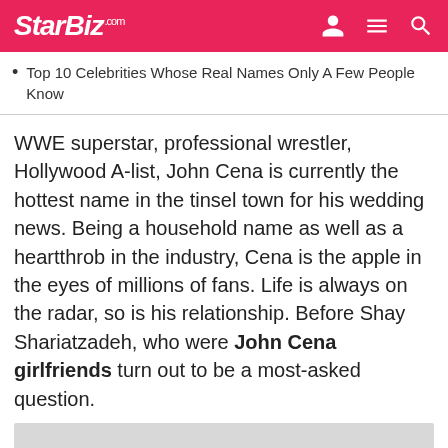StarBiz.com
Top 10 Celebrities Whose Real Names Only A Few People Know
WWE superstar, professional wrestler, Hollywood A-list, John Cena is currently the hottest name in the tinsel town for his wedding news. Being a household name as well as a heartthrob in the industry, Cena is the apple in the eyes of millions of fans. Life is always on the radar, so is his relationship. Before Shay Shariatzadeh, who were John Cena girlfriends turn out to be a most-asked question.
[Figure (photo): Placeholder image with generic image icon on grey background]